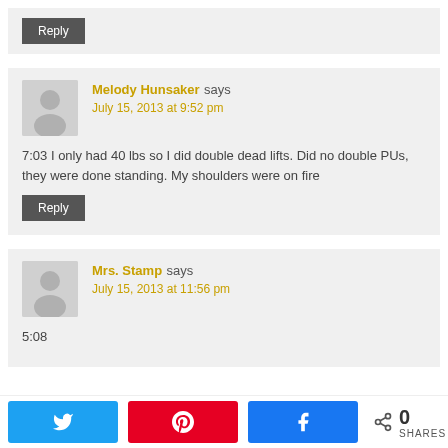[Figure (other): Reply button for previous comment]
[Figure (other): User avatar silhouette for Melody Hunsaker]
Melody Hunsaker says
July 15, 2013 at 9:52 pm
7:03 I only had 40 lbs so I did double dead lifts. Did no double PUs, they were done standing. My shoulders were on fire
[Figure (other): Reply button for Melody Hunsaker comment]
[Figure (other): User avatar silhouette for Mrs. Stamp]
Mrs. Stamp says
July 15, 2013 at 11:56 pm
5:08
0 SHARES